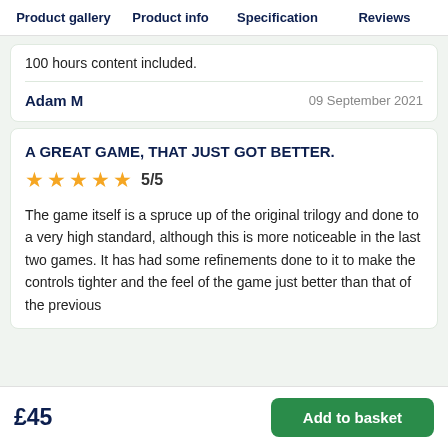Product gallery   Product info   Specification   Reviews
100 hours content included.
Adam M   09 September 2021
A GREAT GAME, THAT JUST GOT BETTER.
5/5
The game itself is a spruce up of the original trilogy and done to a very high standard, although this is more noticeable in the last two games. It has had some refinements done to it to make the controls tighter and the feel of the game just better than that of the previous
£45
Add to basket